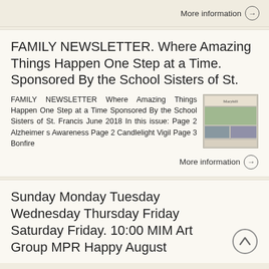More information →
FAMILY NEWSLETTER. Where Amazing Things Happen One Step at a Time. Sponsored By the School Sisters of St.
FAMILY NEWSLETTER Where Amazing Things Happen One Step at a Time Sponsored By the School Sisters of St. Francis June 2018 In this issue: Page 2 Alzheimer s Awareness Page 2 Candlelight Vigil Page 3 Bonfire
[Figure (photo): Thumbnail image of a newsletter page showing Maryhill with photos]
More information →
Sunday Monday Tuesday Wednesday Thursday Friday Saturday Friday. 10:00 MIM Art Group MPR Happy August